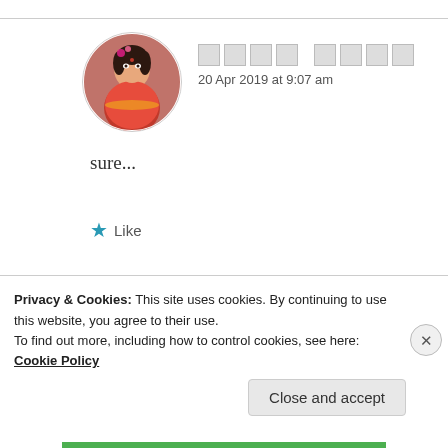[Figure (photo): Circular avatar photo of a woman in traditional South Asian bridal attire with floral decorations]
█████ █████
20 Apr 2019 at 9:07 am
sure...
★ Like
[Figure (photo): Circular avatar photo showing a person wearing a hat, partially visible, dark reddish-brown tones]
ZEALOUS HOMO SAPIENS
Privacy & Cookies: This site uses cookies. By continuing to use this website, you agree to their use.
To find out more, including how to control cookies, see here: Cookie Policy
Close and accept